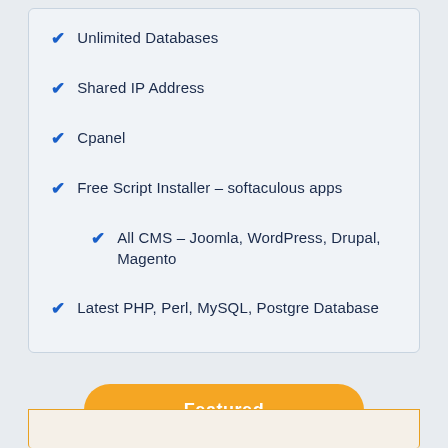Unlimited Databases
Shared IP Address
Cpanel
Free Script Installer – softaculous apps
All CMS – Joomla, WordPress, Drupal, Magento
Latest PHP, Perl, MySQL, Postgre Database
Featured